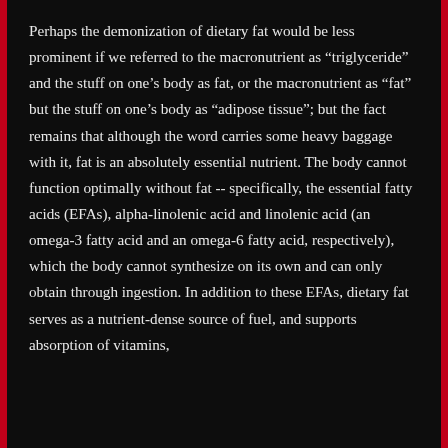Perhaps the demonization of dietary fat would be less prominent if we referred to the macronutrient as “triglyceride” and the stuff on one’s body as fat, or the macronutrient as “fat” but the stuff on one’s body as “adipose tissue”; but the fact remains that although the word carries some heavy baggage with it, fat is an absolutely essential nutrient. The body cannot function optimally without fat -- specifically, the essential fatty acids (EFAs), alpha-linolenic acid and linolenic acid (an omega-3 fatty acid and an omega-6 fatty acid, respectively), which the body cannot synthesize on its own and can only obtain through ingestion. In addition to these EFAs, dietary fat serves as a nutrient-dense source of fuel, and supports absorption of vitamins, and other flavors...